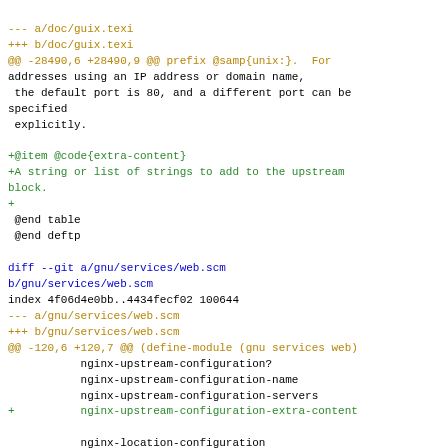--- a/doc/guix.texi
+++ b/doc/guix.texi
@@ -28490,6 +28490,9 @@ prefix @samp{unix:}.  For addresses using an IP address or domain name,
 the default port is 80, and a different port can be
specified
 explicitly.

+@item @code{extra-content}
+A string or list of strings to add to the upstream
block.
+
 @end table
 @end deftp

diff --git a/gnu/services/web.scm
b/gnu/services/web.scm
index 4f06d4e0bb..4434fecf02 100644
--- a/gnu/services/web.scm
+++ b/gnu/services/web.scm
@@ -120,6 +120,7 @@ (define-module (gnu services web)
           nginx-upstream-configuration?
           nginx-upstream-configuration-name
           nginx-upstream-configuration-servers
+          nginx-upstream-configuration-extra-content

           nginx-location-configuration
           nginx-location-configuration?
@@ -517,7 +518,9 @@ (define-record-type* <nginx-
upstream-configuration>